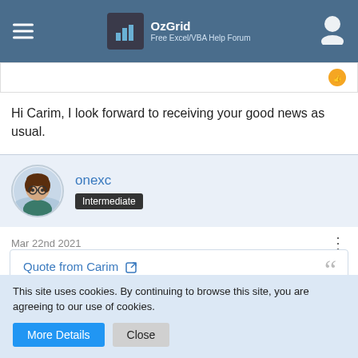OzGrid Free Excel/VBA Help Forum
Hi Carim, I look forward to receiving your good news as usual.
onexc
Intermediate
Mar 22nd 2021
Quote from Carim
This site uses cookies. By continuing to browse this site, you are agreeing to our use of cookies.
More Details  Close